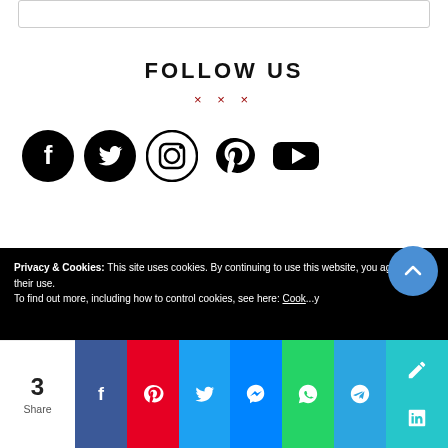[Figure (screenshot): Search bar at top of page]
FOLLOW US
× × ×
[Figure (infographic): Social media icons: Facebook, Twitter, Instagram, Pinterest, YouTube]
Privacy & Cookies: This site uses cookies. By continuing to use this website, you agree to their use. To find out more, including how to control cookies, see here: Cook...y
[Figure (infographic): Share bar with count 3 and social share buttons: Facebook, Pinterest, Twitter, Messenger, WhatsApp, Telegram, LinkedIn]